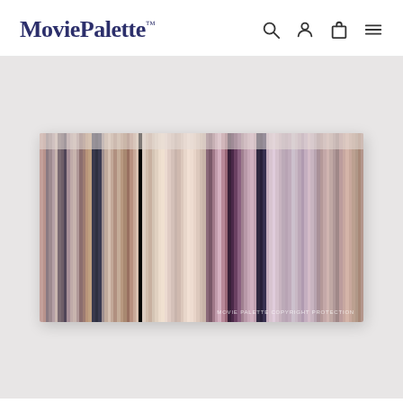MoviePalette™
[Figure (illustration): A horizontal barcode-style movie color palette print showing vertical stripes of colors extracted from a film — warm browns, taupes, muted pinks, dark navy, creamy whites, dusty purples, and mauve tones arranged as thin vertical bars across a wide rectangular format. Watermark reads: MOVIE PALETTE COPYRIGHT PROTECTION]